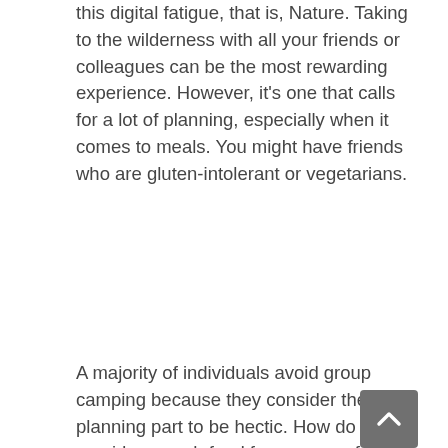this digital fatigue, that is, Nature. Taking to the wilderness with all your friends or colleagues can be the most rewarding experience. However, it's one that calls for a lot of planning, especially when it comes to meals. You might have friends who are gluten-intolerant or vegetarians.
A majority of individuals avoid group camping because they consider the meal planning part to be hectic. How do you provide enough food for a group of 20 or more people?